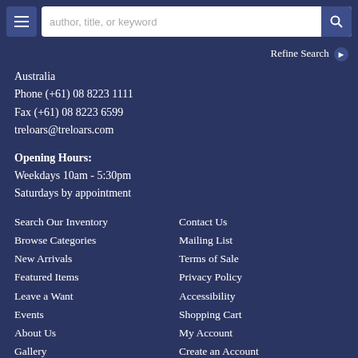author, title, or keyword [search bar with menu button]
Refine Search
Australia
Phone (+61) 08 8223 1111
Fax (+61) 08 8223 6599
treloars@treloars.com
Opening Hours:
Weekdays 10am - 5:30pm
Saturdays by appointment
Search Our Inventory
Browse Categories
New Arrivals
Featured Items
Leave a Want
Events
About Us
Gallery
Catalogues
Auctions
Contact Us
Mailing List
Terms of Sale
Privacy Policy
Accessibility
Shopping Cart
My Account
Create an Account
Forgot Password